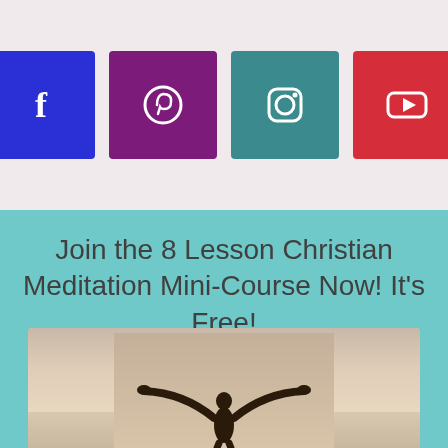[Figure (other): Four social media icon buttons: Facebook (blue), Pinterest (purple), Instagram (teal), YouTube (red), arranged horizontally on a light pinkish-grey background]
Join the 8 Lesson Christian Meditation Mini-Course Now! It's Free!
[Figure (photo): A person silhouetted against a warm sunset/twilight sky with arms raised wide open, suggesting freedom or worship]